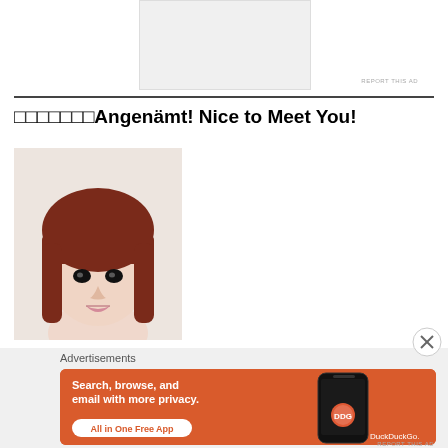[Figure (photo): Gray placeholder advertisement box at top center]
REPORT THIS AD
□□□□□□□Angenämt! Nice to Meet You!
[Figure (photo): Portrait photo of a woman with short reddish-brown bangs hair]
Advertisements
[Figure (infographic): DuckDuckGo advertisement: Search, browse, and email with more privacy. All in One Free App. Shows a smartphone with DuckDuckGo logo.]
REPORT THIS AD